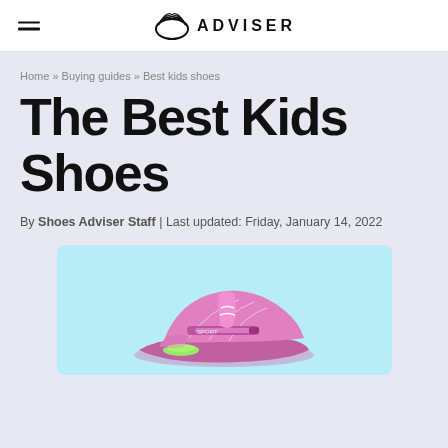ADVISER
Home » Buying guides » Best kids shoes
The Best Kids Shoes
By Shoes Adviser Staff | Last updated: Friday, January 14, 2022
[Figure (photo): Pink kids sneaker with LED light on a light blue background]